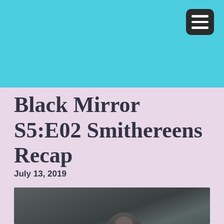[Figure (screenshot): Cyan/turquoise header banner with a dark hamburger menu button in the top right corner]
Black Mirror S5:E02 Smithereens Recap
July 13, 2019
[Figure (photo): Dark, moody still from Black Mirror episode Smithereens showing a figure in dim interior lighting]